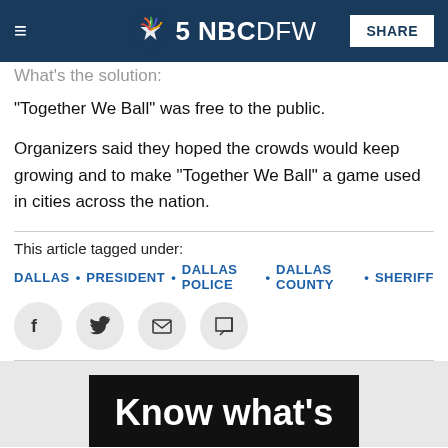NBC DFW
What's the solution:
"Together We Ball" was free to the public.
Organizers said they hoped the crowds would keep growing and to make "Together We Ball" a game used in cities across the nation.
This article tagged under:
DALLAS • PRESIDENT • DALLAS POLICE • DALLAS COUNTY • SHERIFF
[Figure (other): Social sharing icons: Facebook, Twitter, Email, Comment]
[Figure (screenshot): Promo image with text 'Know what's']